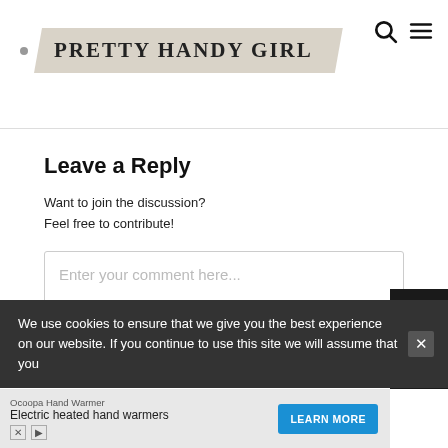Pretty Handy Girl
Leave a Reply
Want to join the discussion?
Feel free to contribute!
Enter your comment here...
This site uses Akismet to reduce spam. Learn
We use cookies to ensure that we give you the best experience on our website. If you continue to use this site we will assume that you
[Figure (other): Advertisement banner: Ocoopa Hand Warmer - Electric heated hand warmers with LEARN MORE button]